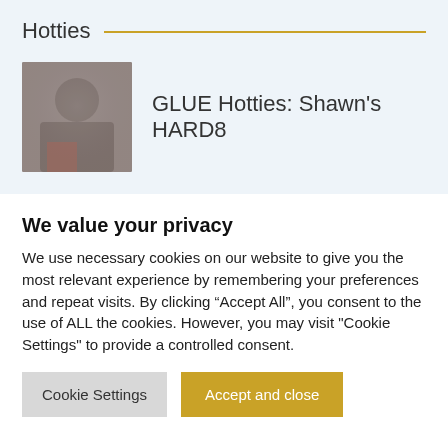Hotties
[Figure (photo): Blurred thumbnail image of a person]
GLUE Hotties: Shawn's HARD8
We value your privacy
We use necessary cookies on our website to give you the most relevant experience by remembering your preferences and repeat visits. By clicking “Accept All”, you consent to the use of ALL the cookies. However, you may visit "Cookie Settings" to provide a controlled consent.
Cookie Settings
Accept and close